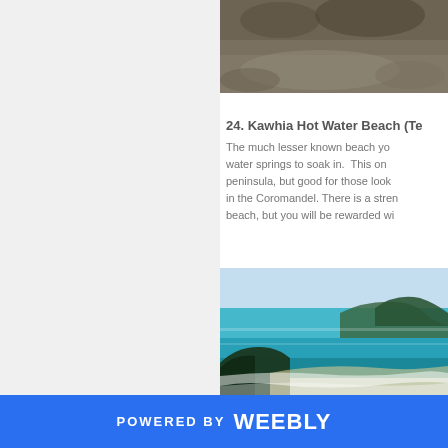[Figure (photo): Top portion of a photo showing rocky/grassy terrain, dark earthy tones, partially visible at top of page]
24. Kawhia Hot Water Beach (Te...
The much lesser known beach yo... water springs to soak in. This on... peninsula, but good for those look... in the Coromandel. There is a stren... beach, but you will be rewarded wi...
[Figure (photo): Beach scene with turquoise/blue ocean water, green hills in background, white surf in foreground]
POWERED BY weebly